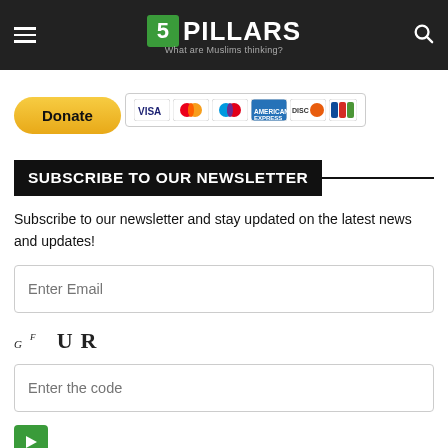5 PILLARS — What are Muslims thinking?
[Figure (other): PayPal Donate button with payment card icons (Visa, Mastercard, Maestro, AmEx, Discover, JCB)]
SUBSCRIBE TO OUR NEWSLETTER
Subscribe to our newsletter and stay updated on the latest news and updates!
Enter Email
[Figure (other): CAPTCHA image showing distorted text: Gf UR]
Enter the code